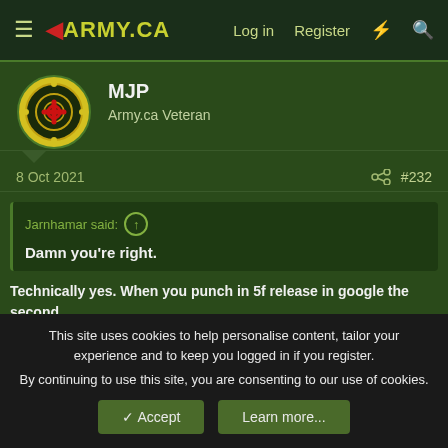4ARMY.CA  Log in  Register
MJP
Army.ca Veteran
8 Oct 2021  #232
Jarnhamar said: Damn you're right.
Technically yes. When you punch in 5f release in google the second hit you get off Reddit says "5f is normally issued when you became an administrative burden for the CAF while 2a is issued for wrongful behavior or inappropriate conduct" but and
This site uses cookies to help personalise content, tailor your experience and to keep you logged in if you register. By continuing to use this site, you are consenting to our use of cookies.
Accept  Learn more...